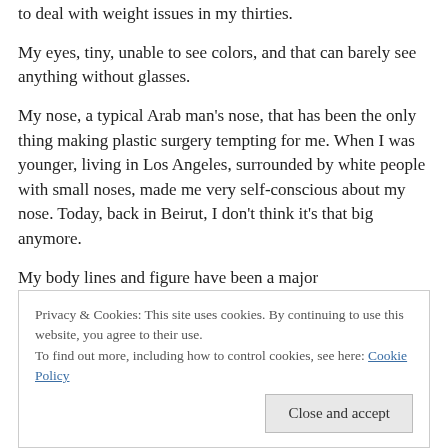to deal with weight issues in my thirties.
My eyes, tiny, unable to see colors, and that can barely see anything without glasses.
My nose, a typical Arab man’s nose, that has been the only thing making plastic surgery tempting for me. When I was younger, living in Los Angeles, surrounded by white people with small noses, made me very self-conscious about my nose. Today, back in Beirut, I don’t think it’s that big anymore.
My body lines and figure have been a major… (partially visible)
Privacy & Cookies: This site uses cookies. By continuing to use this website, you agree to their use.
To find out more, including how to control cookies, see here: Cookie Policy